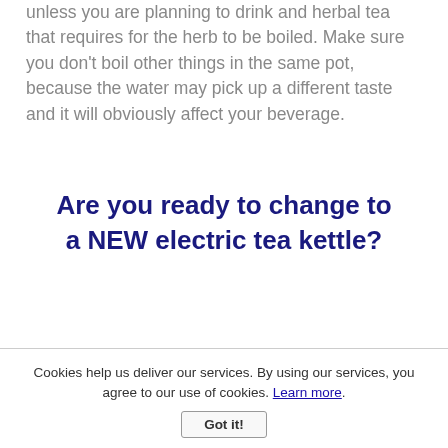unless you are planning to drink and herbal tea that requires for the herb to be boiled. Make sure you don't boil other things in the same pot, because the water may pick up a different taste and it will obviously affect your beverage.
Are you ready to change to a NEW electric tea kettle?
Cookies help us deliver our services. By using our services, you agree to our use of cookies. Learn more. Got it!